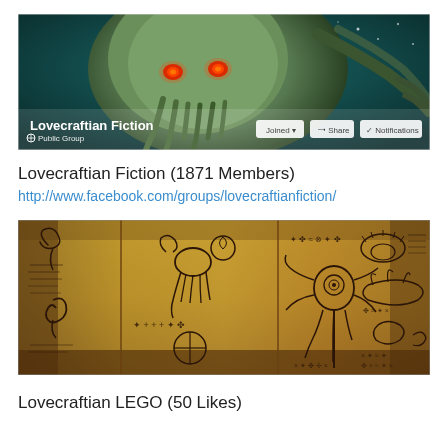[Figure (screenshot): Facebook group banner for 'Lovecraftian Fiction' showing a Cthulhu-like creature with tentacles and glowing red eyes against a teal background. Group name and 'Public Group' label shown in bottom-left. Buttons: Joined, Share, Notifications visible in bottom-right.]
Lovecraftian Fiction (1871 Members)
http://www.facebook.com/groups/lovecraftianfiction/
[Figure (photo): Image of ancient-looking parchment pages with hand-drawn Lovecraftian/occult symbols, creatures, and alien script resembling a Necronomicon or tome of forbidden knowledge.]
Lovecraftian LEGO (50 Likes)